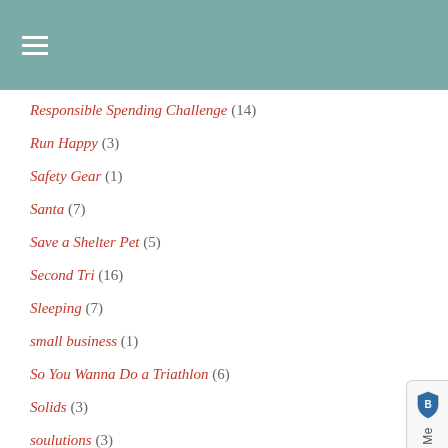≡ (hamburger menu)
Responsible Spending Challenge (14)
Run Happy (3)
Safety Gear (1)
Santa (7)
Save a Shelter Pet (5)
Second Tri (16)
Sleeping (7)
small business (1)
So You Wanna Do a Triathlon (6)
Solids (3)
soulutions (3)
Speedy 5K/NMTZ Challenge (8)
Sponsored Posts, Giveaways, and Reviews (98)
Sports Bras (5)